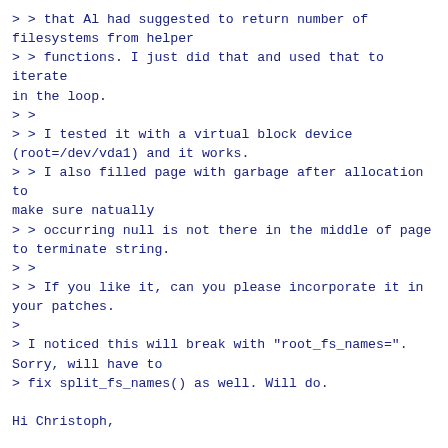> > that Al had suggested to return number of filesystems from helper
> > functions. I just did that and used that to iterate in the loop.
> >
> > I tested it with a virtual block device (root=/dev/vda1) and it works.
> > I also filled page with garbage after allocation to make sure natually
> > occurring null is not there in the middle of page to terminate string.
> >
> > If you like it, can you please incorporate it in your patches.
>
> I noticed this will break with "root_fs_names=". Sorry, will have to
> fix split_fs_names() as well. Will do.

Hi Christoph,

I fixed it. Now both split_fs_names() and list_bdev_fs_names() return
count of fstype strings it placed in the buffer. And callers now
use that count to loop (instead of relying on extra null byte at the
end of the buffer).

I tested both nodev (virtiofs, 9p) and block dev rootfs